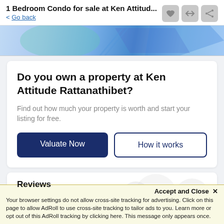1 Bedroom Condo for sale at Ken Attitud... < Go back
[Figure (illustration): Partial banner image with blue geometric/abstract design shapes visible at top]
Do you own a property at Ken Attitude Rattanathibet?
Find out how much your property is worth and start your listing for free.
Valuate Now | How it works
Reviews
Accept and Close ✕
Your browser settings do not allow cross-site tracking for advertising. Click on this page to allow AdRoll to use cross-site tracking to tailor ads to you. Learn more or opt out of this AdRoll tracking by clicking here. This message only appears once.